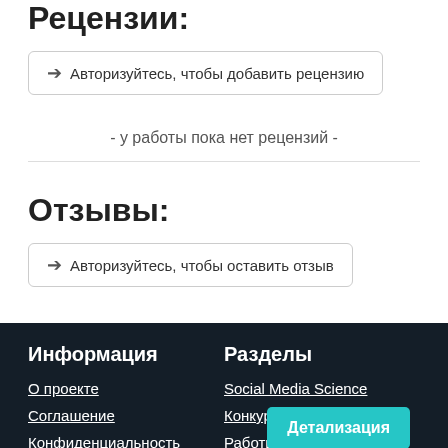Рецензии:
➔ Авторизуйтесь, чтобы добавить рецензию
- у работы пока нет рецензий -
Отзывы:
➔ Авторизуйтесь, чтобы оставить отзыв
Информация | О проекте | Соглашение | Конфиденциальность | Разделы | Social Media Science | Конкурсы | Работы | Детализация